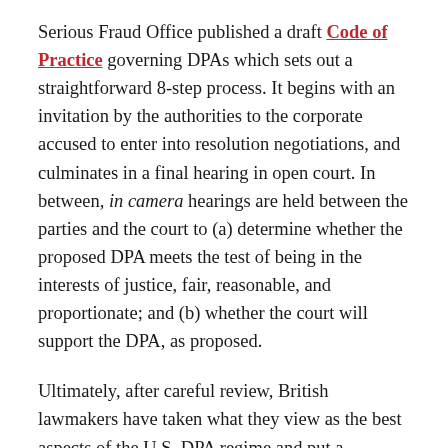Serious Fraud Office published a draft Code of Practice governing DPAs which sets out a straightforward 8-step process. It begins with an invitation by the authorities to the corporate accused to enter into resolution negotiations, and culminates in a final hearing in open court. In between, in camera hearings are held between the parties and the court to (a) determine whether the proposed DPA meets the test of being in the interests of justice, fair, reasonable, and proportionate; and (b) whether the court will support the DPA, as proposed.
Ultimately, after careful review, British lawmakers have taken what they view as the best aspects of the U.S. DPA regime and put a distinctly British spin on it by providing for a judicial approval process that helps protect the public, while still providing prosecutors with a tool to bring corporate offenders to the